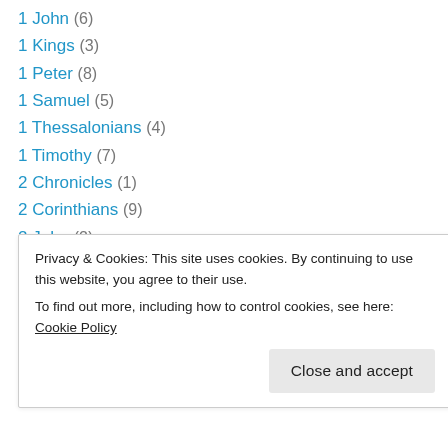1 John (6)
1 Kings (3)
1 Peter (8)
1 Samuel (5)
1 Thessalonians (4)
1 Timothy (7)
2 Chronicles (1)
2 Corinthians (9)
2 John (2)
2 Kings (3)
2 Peter (2)
2 Samuel (4)
2 Thessalonians (2)
2 Timothy (5)
Privacy & Cookies: This site uses cookies. By continuing to use this website, you agree to their use. To find out more, including how to control cookies, see here: Cookie Policy